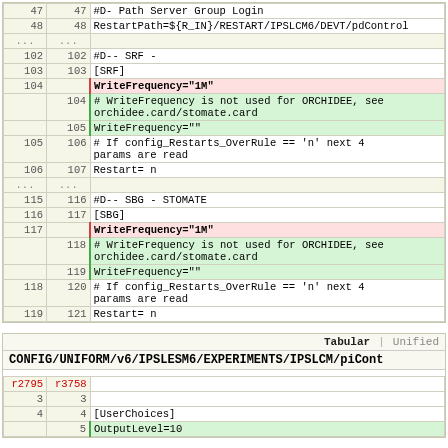| old | new | content |
| --- | --- | --- |
| 47 | 47 | #D- Path Server Group Login |
| 48 | 48 | RestartPath=${R_IN}/RESTART/IPSLCM6/DEVT/pdControl |
| ... | ... |  |
| 102 | 102 | #D-- SRF - |
| 103 | 103 | [SRF] |
| 104 |  | WriteFrequency="1M" |
|  | 104 | # WriteFrequency is not used for ORCHIDEE, see orchidee.card/stomate.card |
|  | 105 | WriteFrequency="" |
| 105 | 106 | # If config_Restarts_OverRule == 'n' next 4 params are read |
| 106 | 107 | Restart= n |
| ... | ... |  |
| 115 | 116 | #D-- SBG - STOMATE |
| 116 | 117 | [SBG] |
| 117 |  | WriteFrequency="1M" |
|  | 118 | # WriteFrequency is not used for ORCHIDEE, see orchidee.card/stomate.card |
|  | 119 | WriteFrequency="" |
| 118 | 120 | # If config_Restarts_OverRule == 'n' next 4 params are read |
| 119 | 121 | Restart= n |
Tabular | Unified
CONFIG/UNIFORM/v6/IPSLESM6/EXPERIMENTS/IPSLCM/piCont
| r2795 | r3758 | content |
| --- | --- | --- |
|  |  |  |
| 3 | 3 |  |
| 4 | 4 | [UserChoices] |
|  | 5 | OutputLevel=10 |